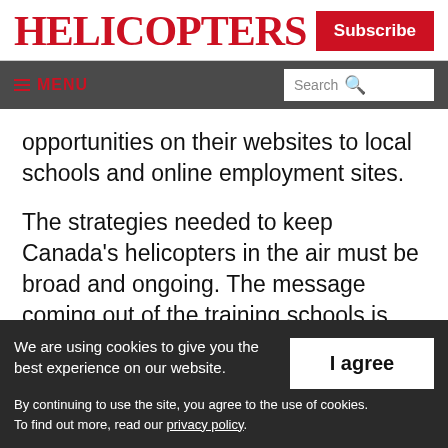HELICOPTERS
Subscribe
≡ MENU  Search
opportunities on their websites to local schools and online employment sites.
The strategies needed to keep Canada's helicopters in the air must be broad and ongoing. The message coming out of the training schools is that neither they nor
We are using cookies to give you the best experience on our website. By continuing to use the site, you agree to the use of cookies. To find out more, read our privacy policy.